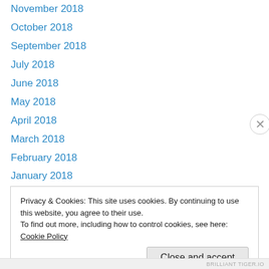November 2018
October 2018
September 2018
July 2018
June 2018
May 2018
April 2018
March 2018
February 2018
January 2018
December 2017
November 2017
October 2017
Privacy & Cookies: This site uses cookies. By continuing to use this website, you agree to their use.
To find out more, including how to control cookies, see here: Cookie Policy
Close and accept